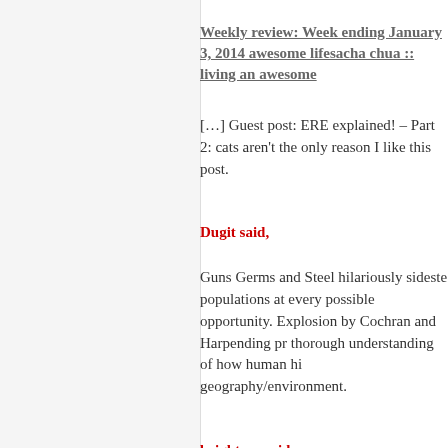Weekly review: Week ending January 3, 2014 awesome lifesacha chua :: living an awesome
[…] Guest post: ERE explained! – Part 2: cats aren't the only reason I like this post.
Dugit said,
Guns Germs and Steel hilariously sideste populations at every possible opportunity. Explosion by Cochran and Harpending pr thorough understanding of how human hi geography/environment.
brighteye said,
Now I know why I love cats and think dog Highly enjoyed the two posts! And now I h read and about 4 new books added to my more food for thought.